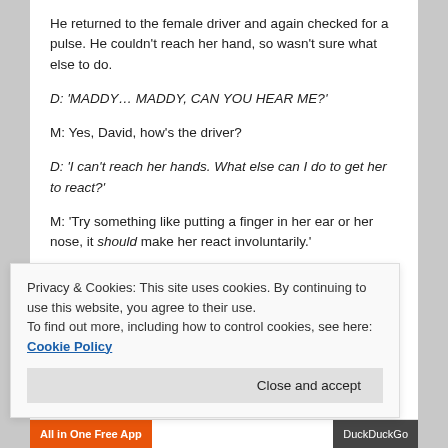He returned to the female driver and again checked for a pulse. He couldn't reach her hand, so wasn't sure what else to do.
D: 'MADDY… MADDY, CAN YOU HEAR ME?'
M: Yes, David, how's the driver?
D: 'I can't reach her hands. What else can I do to get her to react?'
M: 'Try something like putting a finger in her ear or her nose, it should make her react involuntarily.'
Privacy & Cookies: This site uses cookies. By continuing to use this website, you agree to their use.
To find out more, including how to control cookies, see here: Cookie Policy
Close and accept